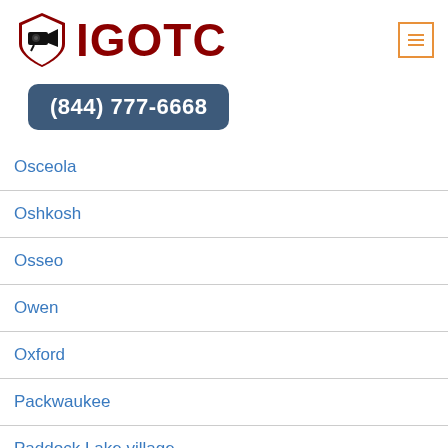[Figure (logo): IGOTC logo with security camera shield icon and red IGOTC text]
(844) 777-6668
Osceola
Oshkosh
Osseo
Owen
Oxford
Packwaukee
Paddock Lake village